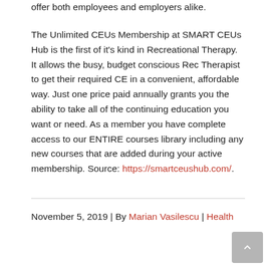offer both employees and employers alike. The Unlimited CEUs Membership at SMART CEUs Hub is the first of it's kind in Recreational Therapy. It allows the busy, budget conscious Rec Therapist to get their required CE in a convenient, affordable way. Just one price paid annually grants you the ability to take all of the continuing education you want or need. As a member you have complete access to our ENTIRE courses library including any new courses that are added during your active membership. Source: https://smartceushub.com/.
November 5, 2019 | By Marian Vasilescu | Health